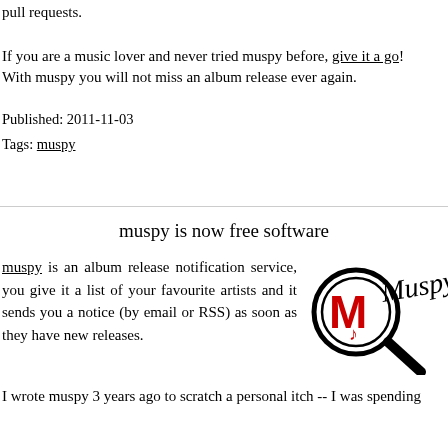pull requests. If you are a music lover and never tried muspy before, give it a go! With muspy you will not miss an album release ever again.
Published: 2011-11-03
Tags: muspy
muspy is now free software
muspy is an album release notification service, you give it a list of your favourite artists and it sends you a notice (by email or RSS) as soon as they have new releases.
[Figure (logo): Muspy logo: magnifying glass with red M and music notes, with cursive 'Muspy' text]
I wrote muspy 3 years ago to scratch a personal itch -- I was spending